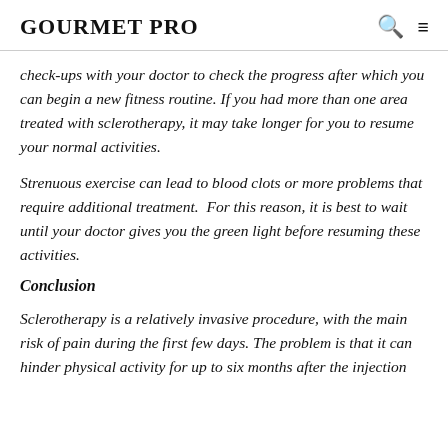GOURMET PRO
check-ups with your doctor to check the progress after which you can begin a new fitness routine. If you had more than one area treated with sclerotherapy, it may take longer for you to resume your normal activities.
Strenuous exercise can lead to blood clots or more problems that require additional treatment.  For this reason, it is best to wait until your doctor gives you the green light before resuming these activities.
Conclusion
Sclerotherapy is a relatively invasive procedure, with the main risk of pain during the first few days. The problem is that it can hinder physical activity for up to six months after the injection